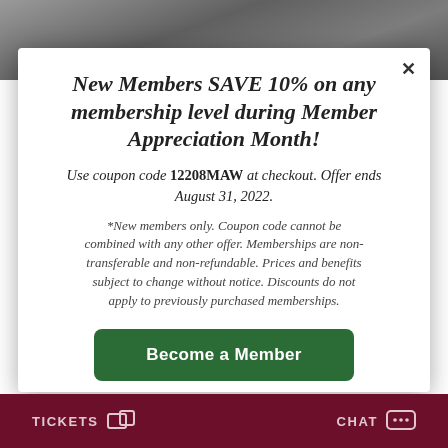[Figure (photo): Dark background photo of foliage/branches at the top of the page]
New Members SAVE 10% on any membership level during Member Appreciation Month!
Use coupon code 12208MAW at checkout. Offer ends August 31, 2022.
*New members only. Coupon code cannot be combined with any other offer. Memberships are non-transferable and non-refundable. Prices and benefits subject to change without notice. Discounts do not apply to previously purchased memberships.
Become a Member
TICKETS   CHAT